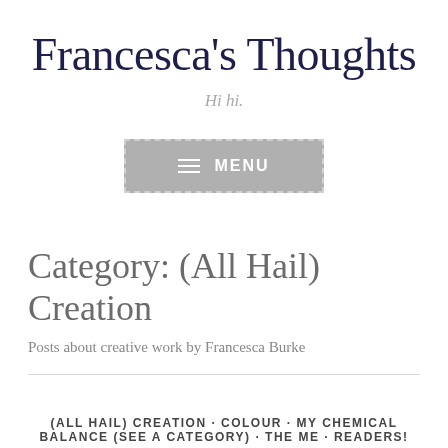Francesca's Thoughts
Hi hi.
[Figure (other): A grey rectangle button with dashed border containing a hamburger menu icon and the word MENU in white bold text]
Category: (All Hail) Creation
Posts about creative work by Francesca Burke
(ALL HAIL) CREATION · COLOUR · MY CHEMICAL BALANCE (SEE A CATEGORY) · THE ME · READERS!